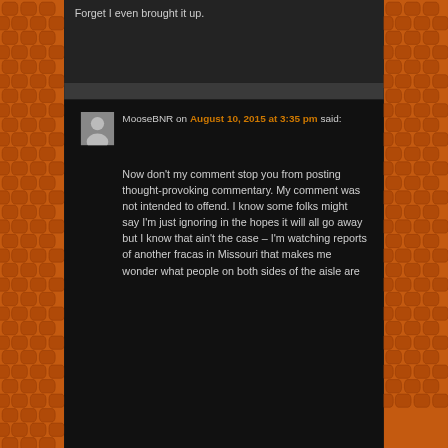Forget I even brought it up.
MooseBNR on August 10, 2015 at 3:35 pm said:
Now don't my comment stop you from posting thought-provoking commentary. My comment was not intended to offend. I know some folks might say I'm just ignoring in the hopes it will all go away but I know that ain't the case – I'm watching reports of another fracas in Missouri that makes me wonder what people on both sides of the aisle are